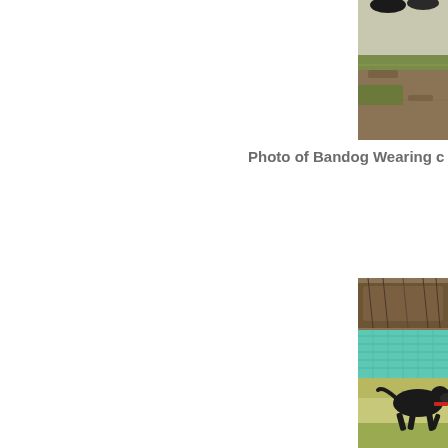[Figure (photo): Top portion of a photo showing outdoor scene with grass, soil and shoes/feet visible at the top edge, cropped on the right side of the page]
Photo of Bandog Wearing c
[Figure (photo): Photo of a black Bandog dog running outdoors in a field with a teal/green fence and dry brush/shrubs in the background, cropped on the right side of the page]